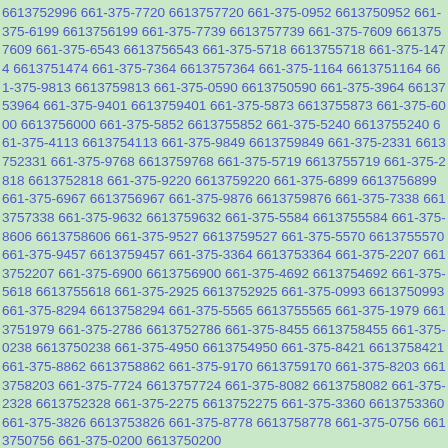6613752996 661-375-7720 6613757720 661-375-0952 6613750952 661-375-6199 6613756199 661-375-7739 6613757739 661-375-7609 6613757609 661-375-6543 6613756543 661-375-5718 6613755718 661-375-1474 6613751474 661-375-7364 6613757364 661-375-1164 6613751164 661-375-9813 6613759813 661-375-0590 6613750590 661-375-3964 6613753964 661-375-9401 6613759401 661-375-5873 6613755873 661-375-6000 6613756000 661-375-5852 6613755852 661-375-5240 6613755240 661-375-4113 6613754113 661-375-9849 6613759849 661-375-2331 6613752331 661-375-9768 6613759768 661-375-5719 6613755719 661-375-2818 6613752818 661-375-9220 6613759220 661-375-6899 6613756899 661-375-6967 6613756967 661-375-9876 6613759876 661-375-7338 6613757338 661-375-9632 6613759632 661-375-5584 6613755584 661-375-8606 6613758606 661-375-9527 6613759527 661-375-5570 6613755570 661-375-9457 6613759457 661-375-3364 6613753364 661-375-2207 6613752207 661-375-6900 6613756900 661-375-4692 6613754692 661-375-5618 6613755618 661-375-2925 6613752925 661-375-0993 6613750993 661-375-8294 6613758294 661-375-5565 6613755565 661-375-1979 6613751979 661-375-2786 6613752786 661-375-8455 6613758455 661-375-0238 6613750238 661-375-4950 6613754950 661-375-8421 6613758421 661-375-8862 6613758862 661-375-9170 6613759170 661-375-8203 6613758203 661-375-7724 6613757724 661-375-8082 6613758082 661-375-2328 6613752328 661-375-2275 6613752275 661-375-3360 6613753360 661-375-3826 6613753826 661-375-8778 6613758778 661-375-0756 6613750756 661-375-0200 6613750200